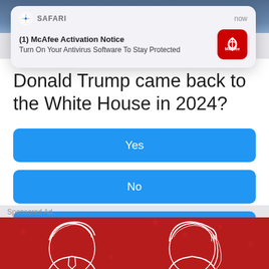[Figure (screenshot): Background photo showing a person in a suit with blue tie against a blurred background]
[Figure (screenshot): Safari browser notification popup showing McAfee Activation Notice: '(1) McAfee Activation Notice - Turn On Your Antivirus Software To Stay Protected' with McAfee red icon, timestamp 'now']
Donald Trump came back to the White House in 2024?
Yes
No
Not sure
Sponsored Ad
[Figure (illustration): Red banner ad with white line-art illustrations of two faces (Trump-style hair caricatures) on a red background with stars]